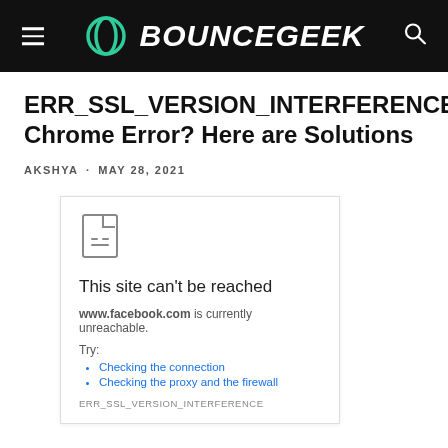BOUNCEGEEK
ERR_SSL_VERSION_INTERFERENCE Chrome Error? Here are Solutions
AKSHYA · MAY 28, 2021
[Figure (screenshot): Chrome browser error page showing a broken document icon, 'This site can't be reached', 'www.facebook.com is currently unreachable.', Try: Checking the connection, Checking the proxy and the firewall, ERR_SSL_VERSION_INTERFERENCE]